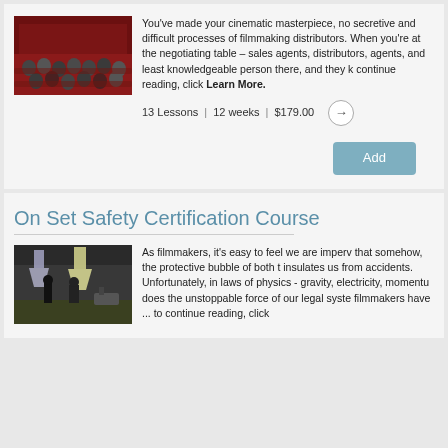[Figure (photo): Cinema audience wearing 3D glasses in red seats]
You've made your cinematic masterpiece, no secretive and difficult processes of filmmaking distributors. When you're at the negotiating table – sales agents, distributors, agents, and least knowledgeable person there, and they k continue reading, click Learn More.
13 Lessons  |  12 weeks  |  $179.00
On Set Safety Certification Course
[Figure (photo): Film set with crew working under bright lights]
As filmmakers, it's easy to feel we are imperv that somehow, the protective bubble of both t insulates us from accidents. Unfortunately, in laws of physics - gravity, electricity, momentu does the unstoppable force of our legal syste filmmakers have ... to continue reading, click